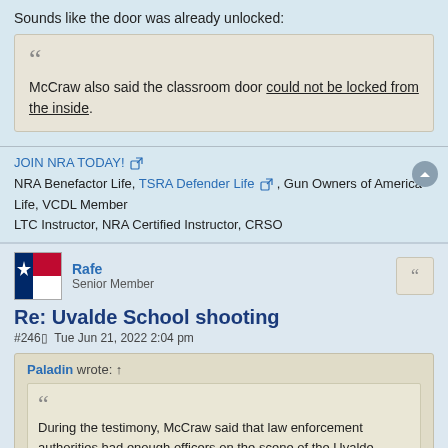Sounds like the door was already unlocked:
McCraw also said the classroom door could not be locked from the inside.
JOIN NRA TODAY! NRA Benefactor Life, TSRA Defender Life, Gun Owners of America Life, VCDL Member
LTC Instructor, NRA Certified Instructor, CRSO
Rafe
Senior Member
Re: Uvalde School shooting
#246  Tue Jun 21, 2022 2:04 pm
Paladin wrote: ↑
During the testimony, McCraw said that law enforcement authorities had enough officers on the scene of the Uvalde school massacre to have stopped the gunman three minutes after he